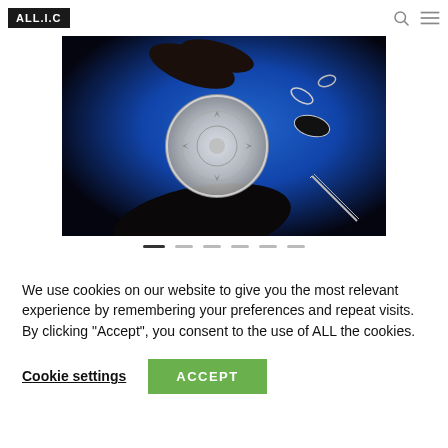ALL.I.C
[Figure (photo): Close-up photo of hands working on a watch mechanism/movement against a blue background, with small watch parts scattered around]
[Figure (other): Carousel navigation dots — one active (dark), five inactive (light gray)]
We use cookies on our website to give you the most relevant experience by remembering your preferences and repeat visits. By clicking "Accept", you consent to the use of ALL the cookies.
Cookie settings   ACCEPT